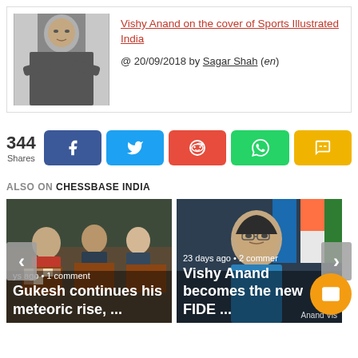[Figure (photo): Article card with thumbnail photo of Vishy Anand (man in dark suit, arms crossed)]
Vishy Anand on the cover of Sports Illustrated India
@ 20/09/2018 by Sagar Shah (en)
344 Shares — social share buttons: Facebook, Twitter, Reddit, WhatsApp, SMS
ALSO ON CHESSBASE INDIA
[Figure (photo): Carousel: left card showing chess players at boards with caption 'Gukesh continues his meteoric rise, ...' and right card showing Vishy Anand with caption 'Vishy Anand becomes the new FIDE ...'. Navigation arrows on left and right sides.]